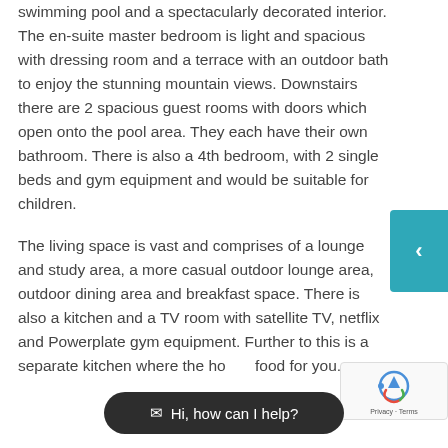swimming pool and a spectacularly decorated interior. The en-suite master bedroom is light and spacious with dressing room and a terrace with an outdoor bath to enjoy the stunning mountain views. Downstairs there are 2 spacious guest rooms with doors which open onto the pool area. They each have their own bathroom. There is also a 4th bedroom, with 2 single beds and gym equipment and would be suitable for children.
The living space is vast and comprises of a lounge and study area, a more casual outdoor lounge area, outdoor dining area and breakfast space. There is also a kitchen and a TV room with satellite TV, netflix and Powerplate gym equipment. Further to this is a separate kitchen where the ho… food for you.
[Figure (other): Teal colored sidebar navigation tab with a left-pointing chevron arrow on the right side of the page]
[Figure (other): Google reCAPTCHA badge in the bottom right corner showing the reCAPTCHA logo and Privacy - Terms text]
[Figure (other): Dark rounded chat widget button at the bottom center reading 'Hi, how can I help?' with a phone/chat icon]